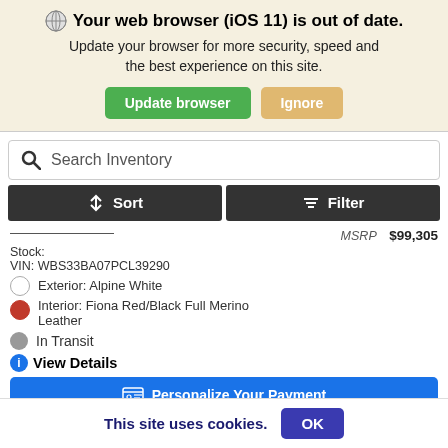Your web browser (iOS 11) is out of date. Update your browser for more security, speed and the best experience on this site.
Update browser | Ignore
Search Inventory
Sort | Filter
MSRP  $99,305
Stock:
VIN: WBS33BA07PCL39290
Exterior: Alpine White
Interior: Fiona Red/Black Full Merino Leather
In Transit
View Details
Personalize Your Payment
This site uses cookies.  OK